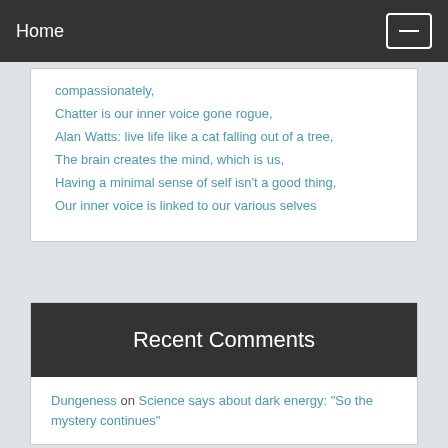Home
compassionately,
Chatter is our inner voice gone rogue,
Alan Watts: live life like a cat falling out of a tree,
The brain creates the mind, which is us,
Having a minimal sense of self isn't a good thing,
Our inner voice is linked to our various selves
Recent Comments
Dungeness on Science says about dark energy: "So the mystery continues"